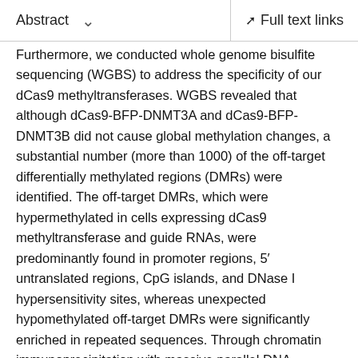Abstract   Full text links
Furthermore, we conducted whole genome bisulfite sequencing (WGBS) to address the specificity of our dCas9 methyltransferases. WGBS revealed that although dCas9-BFP-DNMT3A and dCas9-BFP-DNMT3B did not cause global methylation changes, a substantial number (more than 1000) of the off-target differentially methylated regions (DMRs) were identified. The off-target DMRs, which were hypermethylated in cells expressing dCas9 methyltransferase and guide RNAs, were predominantly found in promoter regions, 5′ untranslated regions, CpG islands, and DNase I hypersensitivity sites, whereas unexpected hypomethylated off-target DMRs were significantly enriched in repeated sequences. Through chromatin immunoprecipitation with massive parallel DNA sequencing analysis, we further revealed that these off-target DMRs were weakly correlated with dCas9 off-target binding sites. Using quantitative polymerase chain reaction DNA sequencing and flow...